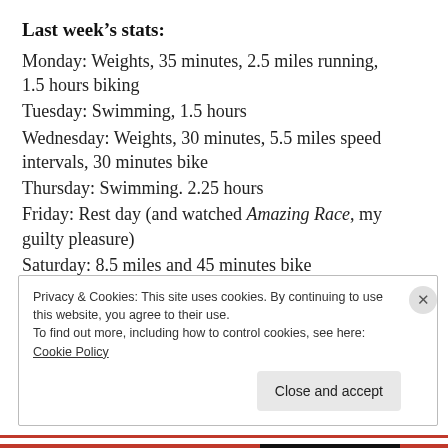Last week's stats:
Monday: Weights, 35 minutes, 2.5 miles running, 1.5 hours biking
Tuesday: Swimming, 1.5 hours
Wednesday: Weights, 30 minutes, 5.5 miles speed intervals, 30 minutes bike
Thursday: Swimming. 2.25 hours
Friday: Rest day (and watched Amazing Race, my guilty pleasure)
Saturday: 8.5 miles and 45 minutes bike
Sunday: Weights, 40 minutes, 1 hour bike
Privacy & Cookies: This site uses cookies. By continuing to use this website, you agree to their use.
To find out more, including how to control cookies, see here: Cookie Policy